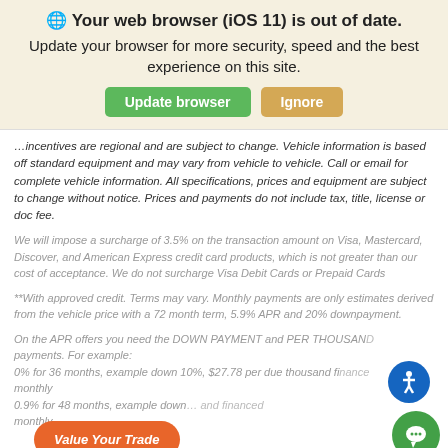🌐 Your web browser (iOS 11) is out of date. Update your browser for more security, speed and the best experience on this site.
...off standard equipment and may vary from vehicle to vehicle. Call or email for complete vehicle information. All specifications, prices and equipment are subject to change without notice. Prices and payments do not include tax, title, license or doc fee.
We will impose a surcharge of 3.5% on the transaction amount on Visa, Mastercard, Discover, and American Express credit card products, which is not greater than our cost of acceptance. We do not surcharge Visa Debit Cards or Prepaid Cards
**With approved credit. Terms may vary. Monthly payments are only estimates derived from the vehicle price with a 72 month term, 5.9% APR and 20% downpayment.
On the APR offers you need the DOWN PAYMENT and PER THOUSAND payments. For example:
0% for 36 months, example down 10%, $27.78 per due thousand fi... monthly
0.9% for 48 months, example down... and fin... monthly